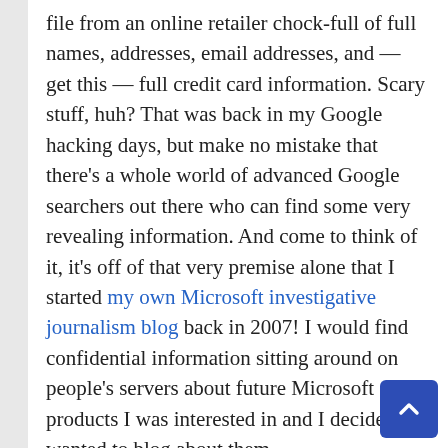file from an online retailer chock-full of full names, addresses, email addresses, and — get this — full credit card information. Scary stuff, huh? That was back in my Google hacking days, but make no mistake that there's a whole world of advanced Google searchers out there who can find some very revealing information. And come to think of it, it's off of that very premise alone that I started my own Microsoft investigative journalism blog back in 2007! I would find confidential information sitting around on people's servers about future Microsoft products I was interested in and I decided I wanted to blog about them.
My methods have since then improved exponentially and branched out well beyond finding confidential information about Microsoft.